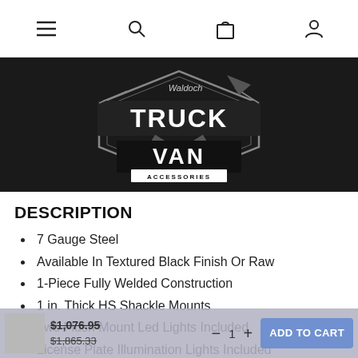[Figure (logo): Waldoch Truck Van Accessories logo — white text on black background with stylized truck/van graphic]
DESCRIPTION
7 Gauge Steel
Available In Textured Black Finish Or Raw
1-Piece Fully Welded Construction
1 in. Thick HS Shackle Mounts
Two Flush Mount Led Lights Included
License Plate Illumination Lights Included
Laser Cut HDX Logo On Ends
$1,076.95 (strikethrough) / $1,865.33 (strikethrough)  — ADD TO CART overlay bar with qty control